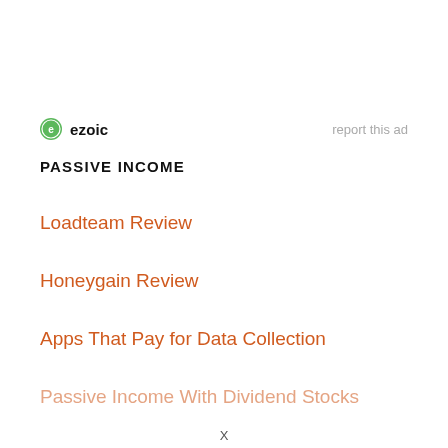[Figure (logo): Ezoic logo with green circular icon and bold text 'ezoic', alongside 'report this ad' link]
PASSIVE INCOME
Loadteam Review
Honeygain Review
Apps That Pay for Data Collection
Passive Income With Dividend Stocks
X